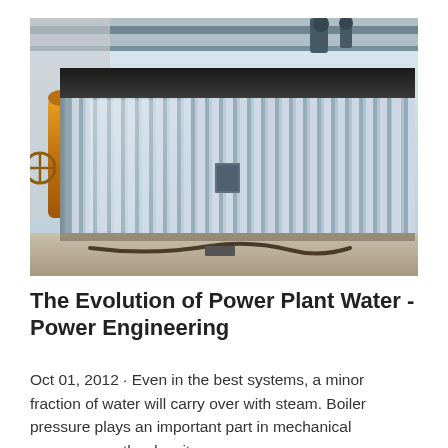[Figure (photo): Industrial boiler or large corrugated metal structure in a power plant facility. The equipment has vertical corrugated metal panels (silver/galvanized steel), with yellow pipes on the left side, overhead structural supports, and a concrete floor. A manufacturer's red sign is visible on the left side of the unit.]
The Evolution of Power Plant Water - Power Engineering
Oct 01, 2012 · Even in the best systems, a minor fraction of water will carry over with steam. Boiler pressure plays an important part in mechanical carryover, as the density